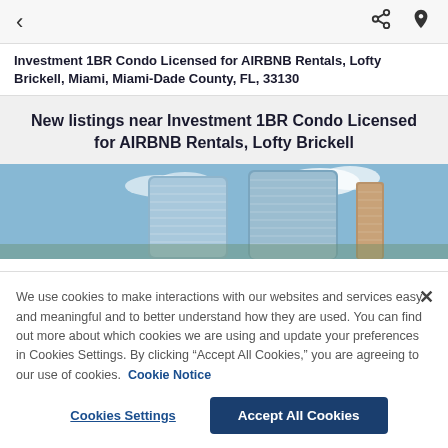< share pin
Investment 1BR Condo Licensed for AIRBNB Rentals, Lofty Brickell, Miami, Miami-Dade County, FL, 33130
New listings near Investment 1BR Condo Licensed for AIRBNB Rentals, Lofty Brickell
[Figure (photo): Photo of modern high-rise condo buildings (Lofty Brickell, Miami) against a blue sky with clouds]
We use cookies to make interactions with our websites and services easy and meaningful and to better understand how they are used. You can find out more about which cookies we are using and update your preferences in Cookies Settings. By clicking "Accept All Cookies," you are agreeing to our use of cookies.  Cookie Notice
Cookies Settings   Accept All Cookies